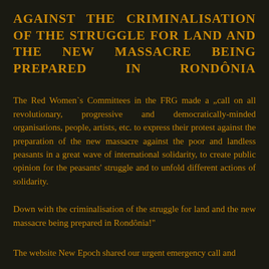AGAINST THE CRIMINALISATION OF THE STRUGGLE FOR LAND AND THE NEW MASSACRE BEING PREPARED IN RONDÔNIA
The Red Women`s Committees in the FRG made a „call on all revolutionary, progressive and democratically-minded organisations, people, artists, etc. to express their protest against the preparation of the new massacre against the poor and landless peasants in a great wave of international solidarity, to create public opinion for the peasants' struggle and to unfold different actions of solidarity.
Down with the criminalisation of the struggle for land and the new massacre being prepared in Rondônia!"
The website New Epoch shared our urgent emergency call and